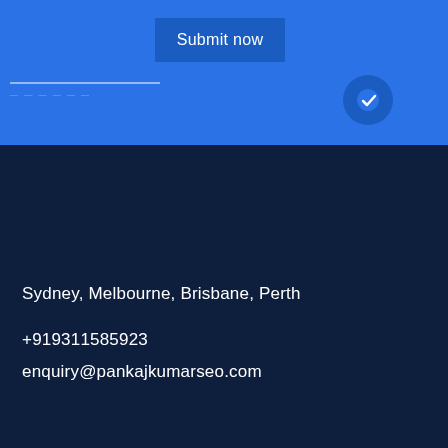[Figure (screenshot): Blue banner section with a 'Submit now' button and partial UI elements visible]
Sydney, Melbourne, Brisbane, Perth
+919311585923
enquiry@pankajkumarseo.com